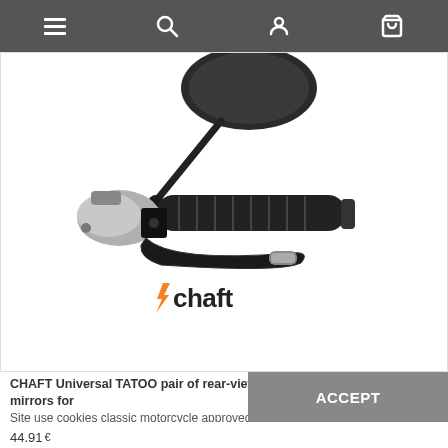Navigation bar with menu, search, account, and cart icons
[Figure (photo): Motorcycle handlebar assembly with a round rear-view mirror on an adjustable arm, rubber hand grip, brake lever, and master cylinder. Below the product photo is the Chaft brand logo with an orange lightning bolt before the letter C.]
CHAFT Universal TATOO pair of rear-view mirrors for custom/classic motorcycle approved – RE403
Site use cookies